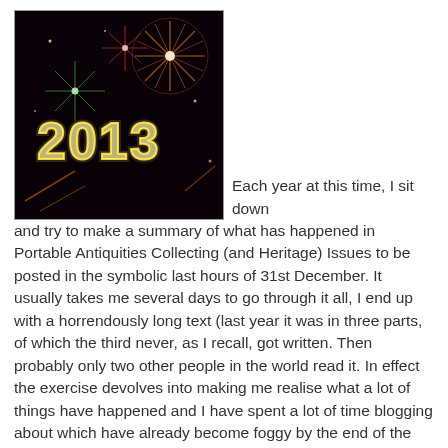[Figure (photo): Fireworks photo with '2013' text illuminated in sparkler/firework style against a dark background with colorful fireworks explosions]
Each year at this time, I sit down and try to make a summary of what has happened in Portable Antiquities Collecting (and Heritage) Issues to be posted in the symbolic last hours of 31st December. It usually takes me several days to go through it all, I end up with a horrendously long text (last year it was in three parts, of which the third never, as I recall, got written. Then probably only two other people in the world read it. In effect the exercise devolves into making me realise what a lot of things have happened and I have spent a lot of time blogging about which have already become foggy by the end of the year. It also has the effect of making it seem that a lot of good things are happening. Have they? Are we really getting anywhere with these issues?
So this year too, a lot of antiquities have been bought and sold. As was the case last year, a lot of smuggled artefacts